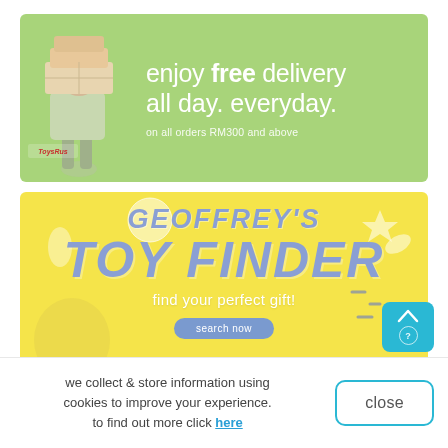[Figure (infographic): Green banner advertisement for Toys R Us free delivery promotion. Shows a cartoon delivery person holding stacked boxes on the left, with white text reading 'enjoy free delivery all day. everyday.' and subtext 'on all orders RM300 and above'. Toys R Us logo visible at bottom left.]
[Figure (infographic): Yellow banner advertisement for Geoffrey's Toy Finder. Features blue/periwinkle bold italic text 'GEOFFREY'S TOY FINDER' with toy decorations around it, white text 'find your perfect gift!' and a 'search now' button. Giraffe mascot and toy icons visible.]
we collect & store information using cookies to improve your experience. to find out more click here